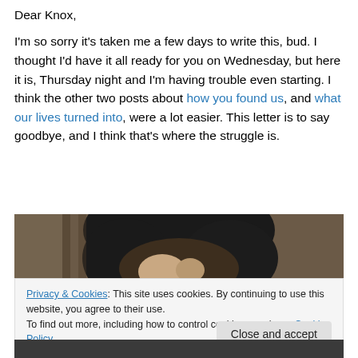Dear Knox,
I'm so sorry it's taken me a few days to write this, bud.  I thought I'd have it all ready for you on Wednesday, but here it is, Thursday night and I'm having trouble even starting.  I think the other two posts about how you found us, and what our lives turned into, were a lot easier.  This letter is to say goodbye, and I think that's where the struggle is.
[Figure (photo): Close-up photo of a dog's head, black and white coloring, viewed from above/front, dark background]
Privacy & Cookies: This site uses cookies. By continuing to use this website, you agree to their use.
To find out more, including how to control cookies, see here: Cookie Policy
Close and accept
[Figure (photo): Partial photo at bottom of page, dark tones]